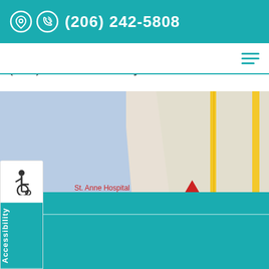(206) 242-5808
(206) 242-5808 today.
[Figure (map): Google Map showing SeaTac area including Normandy Park, SeaTac, Angle Lake Park, International Airport, St. Anne Hospital, and highway 509 and I-5.]
Accessibility